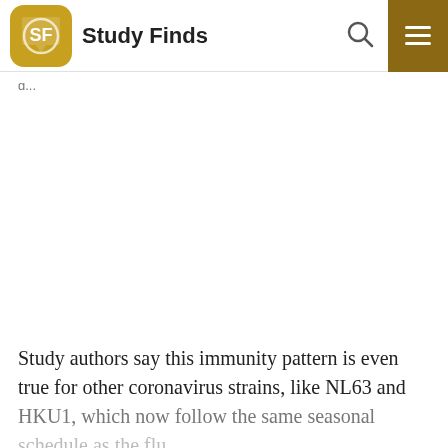Study Finds
Study authors say this immunity pattern is even true for other coronavirus strains, like NL63 and HKU1, which now follow the same seasonal schedule as the flu.